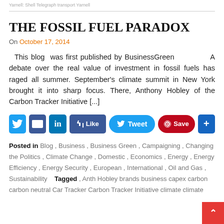Yarnell: Shell Telegraph transport Yarnell
THE FOSSIL FUEL PARADOX
On October 17, 2014
This blog  was first published by BusinessGreen            A debate over the real value of investment in fossil fuels has raged all summer. September's climate summit in New York brought it into sharp focus. There, Anthony Hobley of the Carbon Tracker Initiative [...]
[Figure (other): Social sharing buttons: Twitter, Email, LinkedIn, Like (Facebook), Tweet, Pinterest Save, and a plus button]
Posted in Blog , Business , Business Green , Campaigning , Changing the Politics , Climate Change , Domestic , Economics , Energy , Energy Efficiency , Energy Security , European , International , Oil and Gas , Sustainability    Tagged  Anthony Hobley brands business capex carbon carbon neutral Carbon Tracker Carbon Tracker Initiative climate climate